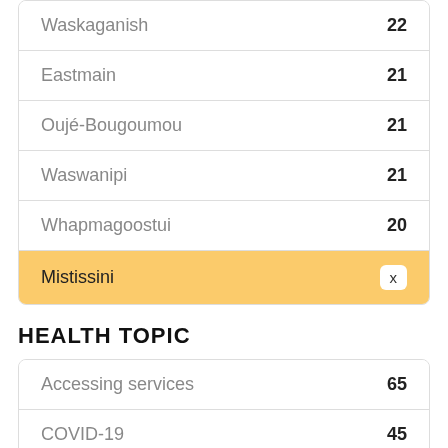| Location | Count |
| --- | --- |
| Waskaganish | 22 |
| Eastmain | 21 |
| Oujé-Bougoumou | 21 |
| Waswanipi | 21 |
| Whapmagoostui | 20 |
| Mistissini | x |
HEALTH TOPIC
| Topic | Count |
| --- | --- |
| Accessing services | 65 |
| COVID-19 | 45 |
| Mental health | 19 |